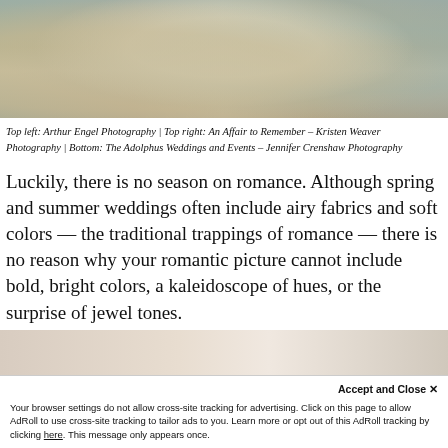[Figure (photo): Wedding reception scene showing decorated tables with floral arrangements, chairs, and reflective floor elements]
Top left: Arthur Engel Photography | Top right: An Affair to Remember – Kristen Weaver Photography | Bottom: The Adolphus Weddings and Events – Jennifer Crenshaw Photography
Luckily, there is no season on romance. Although spring and summer weddings often include airy fabrics and soft colors — the traditional trappings of romance — there is no reason why your romantic picture cannot include bold, bright colors, a kaleidoscope of hues, or the surprise of jewel tones.
[Figure (photo): Partial view of wedding reception photo at the bottom of the page]
Accept and Close ✕
Your browser settings do not allow cross-site tracking for advertising. Click on this page to allow AdRoll to use cross-site tracking to tailor ads to you. Learn more or opt out of this AdRoll tracking by clicking here. This message only appears once.